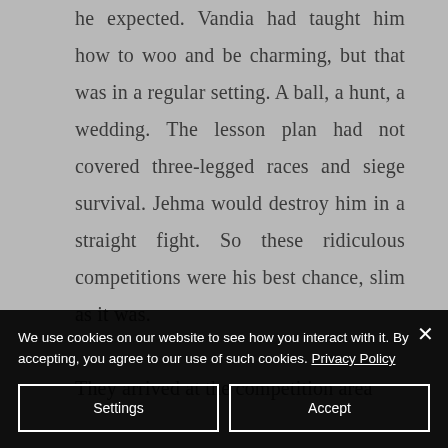he expected. Vandia had taught him how to woo and be charming, but that was in a regular setting. A ball, a hunt, a wedding. The lesson plan had not covered three-legged races and siege survival. Jehma would destroy him in a straight fight. So these ridiculous competitions were his best chance, slim as it was.

They arrived at the competition area
We use cookies on our website to see how you interact with it. By accepting, you agree to our use of such cookies. Privacy Policy